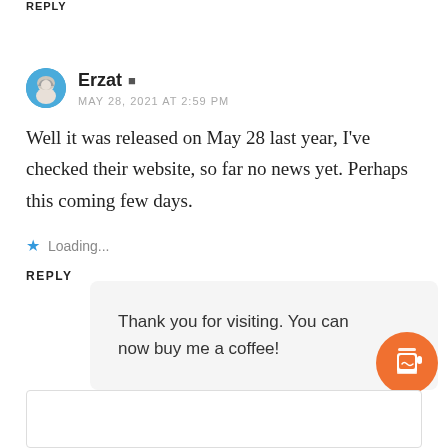REPLY
[Figure (illustration): Blue circular avatar with anime-style character illustration]
Erzat
MAY 28, 2021 AT 2:59 PM
Well it was released on May 28 last year, I've checked their website, so far no news yet. Perhaps this coming few days.
Loading...
REPLY
Thank you for visiting. You can now buy me a coffee!